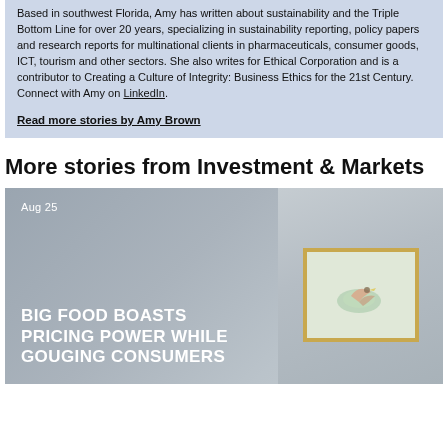Based in southwest Florida, Amy has written about sustainability and the Triple Bottom Line for over 20 years, specializing in sustainability reporting, policy papers and research reports for multinational clients in pharmaceuticals, consumer goods, ICT, tourism and other sectors. She also writes for Ethical Corporation and is a contributor to Creating a Culture of Integrity: Business Ethics for the 21st Century. Connect with Amy on LinkedIn.
Read more stories by Amy Brown
More stories from Investment & Markets
[Figure (photo): Article card with dark overlay background showing a framed artwork on the right side. Date 'Aug 25' at top left. Article title 'BIG FOOD BOASTS PRICING POWER WHILE GOUGING CONSUMERS' in white bold uppercase text at bottom left.]